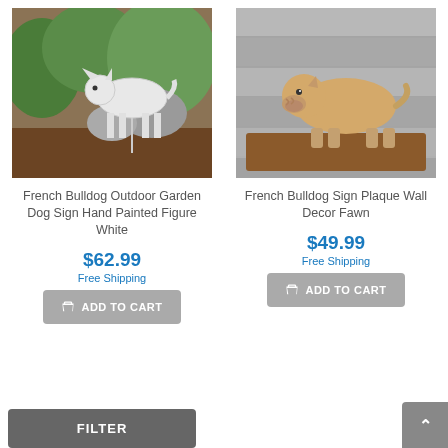[Figure (photo): White French Bulldog outdoor garden stake figure photographed in a garden setting with greenery and rocks]
[Figure (photo): Fawn French Bulldog figurine mounted on a wooden plaque against a gray wood plank background]
French Bulldog Outdoor Garden Dog Sign Hand Painted Figure White
French Bulldog Sign Plaque Wall Decor Fawn
$62.99
Free Shipping
$49.99
Free Shipping
ADD TO CART
ADD TO CART
FILTER
∧